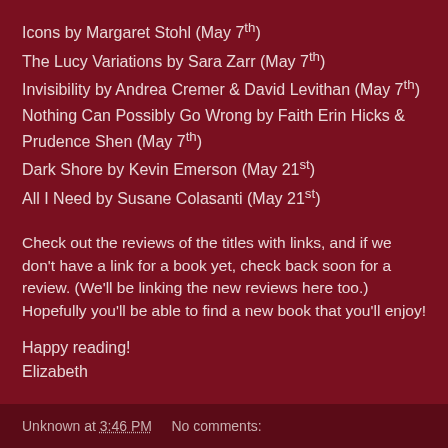Icons by Margaret Stohl (May 7th)
The Lucy Variations by Sara Zarr (May 7th)
Invisibility by Andrea Cremer & David Levithan (May 7th)
Nothing Can Possibly Go Wrong by Faith Erin Hicks & Prudence Shen (May 7th)
Dark Shore by Kevin Emerson (May 21st)
All I Need by Susane Colasanti (May 21st)
Check out the reviews of the titles with links, and if we don't have a link for a book yet, check back soon for a review. (We'll be linking the new reviews here too.) Hopefully you'll be able to find a new book that you'll enjoy!
Happy reading!
Elizabeth
Unknown at 3:46 PM    No comments: